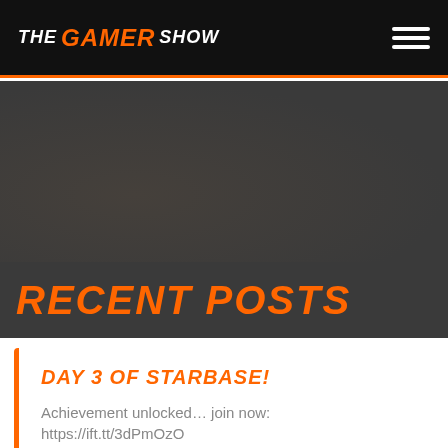THE GAMER SHOW
[Figure (photo): Dark hero image area with grayish-brown background]
RECENT POSTS
DAY 3 OF STARBASE!
Achievement unlocked... join now: https://ift.tt/3dPmOzO